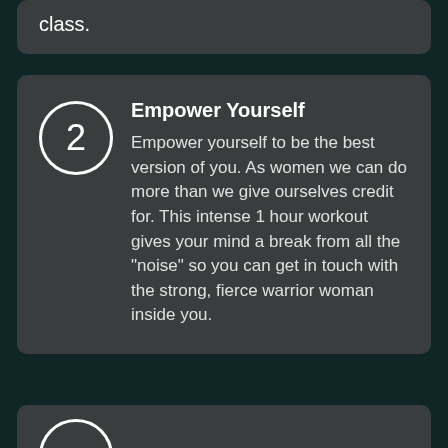class.
2 Empower Yourself — Empower yourself to be the best version of you. As women we can do more than we give ourselves credit for. This intense 1 hour workout gives your mind a break from all the "noise" so you can get in touch with the strong, fierce warrior woman inside you.